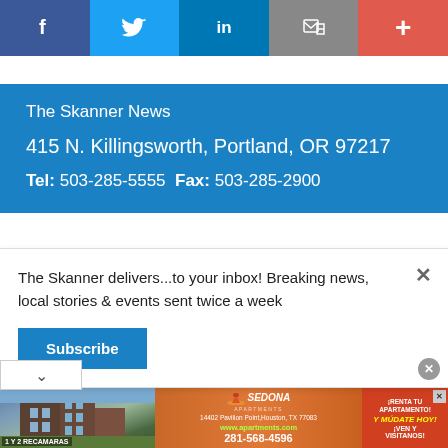[Figure (other): Social media sharing toolbar with Facebook, Twitter, LinkedIn, Email/bookmark, and plus buttons]
The Skanner News
415 N. Killingsworth, Portland, OR 97217
Tel: 503-285-5555  Fax: 503-285-2900
The Skanner delivers...to your inbox! Breaking news, local stories & events sent twice a week
Subscribe
[Figure (other): Sedona Apartments advertisement with building photo, address 14402 Pavilion Point, Houston TX 77083, www.apartments.com, 281-568-4596, 1 Y 2 RECAMARAS, ¡RENTA TU APARTAMENTO! Y MUDATE HOY! ¡VEN Y VISITANOS!]